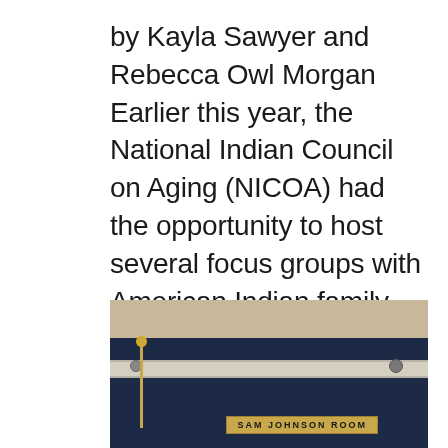by Kayla Sawyer and Rebecca Owl Morgan Earlier this year, the National Indian Council on Aging (NICOA) had the opportunity to host several focus groups with American Indian family caregivers in New Mexico. NICOA organized four focus groups with a total of 31...
[Figure (photo): Interior photo of a formal meeting room showing navy blue curtains with a horizontal rail/stripe, a wooden panel on the left, a flag pole with gold tip, and a gold nameplate reading 'SAM JOHNSON ROOM' at the bottom right.]